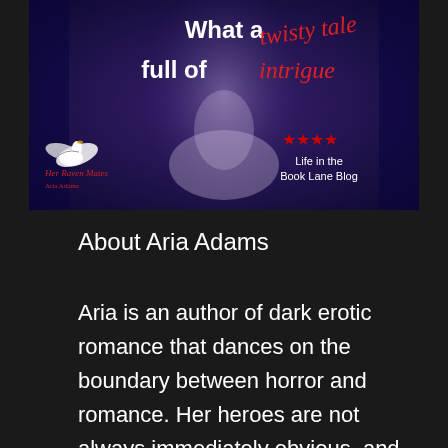[Figure (illustration): Book promotional banner with dark blue/purple background, a woman in white, swan logo, red star rating, text: 'What a twisty tale full of intrigue' and 'Life in the Book Lane Blog' review quote. Book title 'Her Raven Mates' by Aria Adams.]
About Aria Adams
Aria is an author of dark erotic romance that dances on the boundary between horror and romance. Her heroes are not always immediately obvious, and neither are the villains. Her books often have elements of horror, and the characters at the end of a story are forever changed by the events that befell them. But she always makes sure there’s a happy ending, even if the characters have to